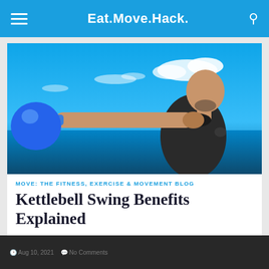Eat.Move.Hack.
[Figure (photo): A muscular bald man holding a blue kettlebell extended in front of him, against a vivid blue sky and ocean background]
MOVE: THE FITNESS, EXERCISE & MOVEMENT BLOG
Kettlebell Swing Benefits Explained
Aug 10, 2021  No Comments